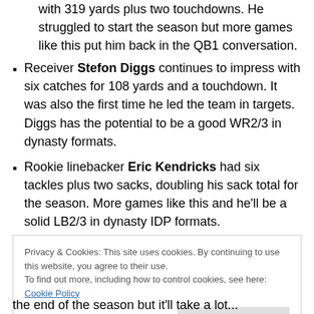with 319 yards plus two touchdowns. He struggled to start the season but more games like this put him back in the QB1 conversation.
Receiver Stefon Diggs continues to impress with six catches for 108 yards and a touchdown. It was also the first time he led the team in targets. Diggs has the potential to be a good WR2/3 in dynasty formats.
Rookie linebacker Eric Kendricks had six tackles plus two sacks, doubling his sack total for the season. More games like this and he'll be a solid LB2/3 in dynasty IDP formats.
Privacy & Cookies: This site uses cookies. By continuing to use this website, you agree to their use. To find out more, including how to control cookies, see here: Cookie Policy
the end of the season but it'll take a lot...